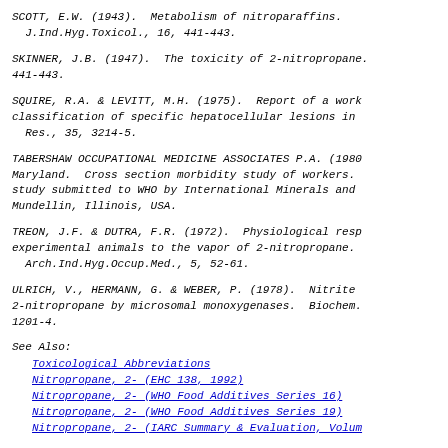SCOTT, E.W. (1943). Metabolism of nitroparaffins. J.Ind.Hyg.Toxicol., 16, 441-443.
SKINNER, J.B. (1947). The toxicity of 2-nitropropane. 441-443.
SQUIRE, R.A. & LEVITT, M.H. (1975). Report of a work classification of specific hepatocellular lesions in Res., 35, 3214-5.
TABERSHAW OCCUPATIONAL MEDICINE ASSOCIATES P.A. (1980). Maryland. Cross section morbidity study of workers. study submitted to WHO by International Minerals and Mundellin, Illinois, USA.
TREON, J.F. & DUTRA, F.R. (1972). Physiological response experimental animals to the vapor of 2-nitropropane. Arch.Ind.Hyg.Occup.Med., 5, 52-61.
ULRICH, V., HERMANN, G. & WEBER, P. (1978). Nitrite 2-nitropropane by microsomal monoxygenases. Biochem. 1201-4.
See Also:
Toxicological Abbreviations
Nitropropane, 2- (EHC 138, 1992)
Nitropropane, 2- (WHO Food Additives Series 16)
Nitropropane, 2- (WHO Food Additives Series 19)
Nitropropane, 2- (IARC Summary & Evaluation, Volume